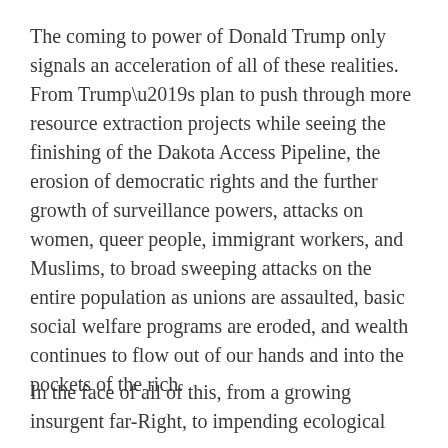The coming to power of Donald Trump only signals an acceleration of all of these realities. From Trump’s plan to push through more resource extraction projects while seeing the finishing of the Dakota Access Pipeline, the erosion of democratic rights and the further growth of surveillance powers, attacks on women, queer people, immigrant workers, and Muslims, to broad sweeping attacks on the entire population as unions are assaulted, basic social welfare programs are eroded, and wealth continues to flow out of our hands and into the pockets of the rich.
In the face of all of this, from a growing insurgent far-Right, to impending ecological